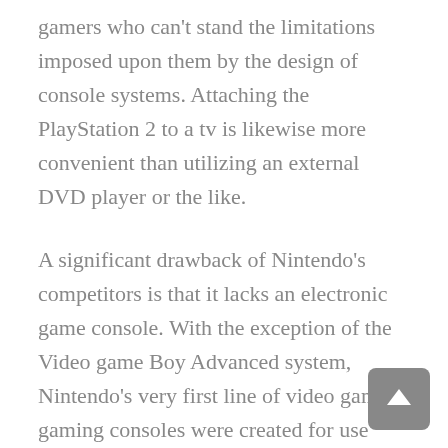gamers who can't stand the limitations imposed upon them by the design of console systems. Attaching the PlayStation 2 to a tv is likewise more convenient than utilizing an external DVD player or the like.
A significant drawback of Nintendo's competitors is that it lacks an electronic game console. With the exception of the Video game Boy Advanced system, Nintendo's very first line of video game gaming consoles were created for use with the business's house gaming system. Lots of specialists feel that the lack of an electronic game console is among the reasons why Nintendo has actually not seen the sales that its rivals have